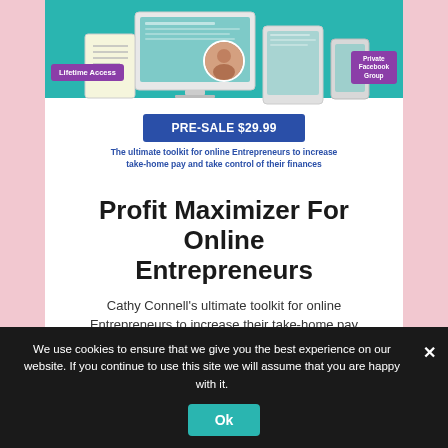[Figure (screenshot): Product banner image showing devices (monitor, tablet, phone) with a teal background, 'Lifetime Access' and 'Private Facebook Group' purple pill badges, a 'PRE-SALE $29.99' blue button, and tagline 'The ultimate toolkit for online Entrepreneurs to increase take-home pay and take control of their finances']
Profit Maximizer For Online Entrepreneurs
Cathy Connell's ultimate toolkit for online Entrepreneurs to increase their take-home pay
We use cookies to ensure that we give you the best experience on our website. If you continue to use this site we will assume that you are happy with it.
Ok